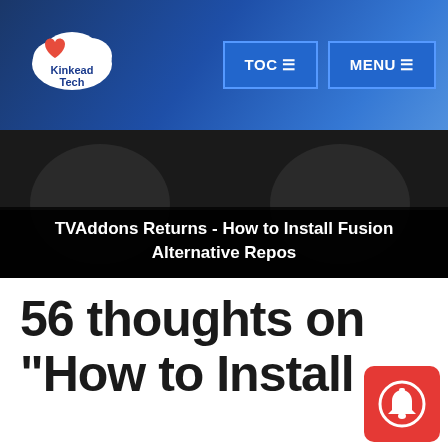Kinkead Tech | TOC ≡ | MENU ≡
[Figure (screenshot): Video thumbnail showing TVAddons Returns - How to Install Fusion Alternative Repos]
56 thoughts on "How to Install